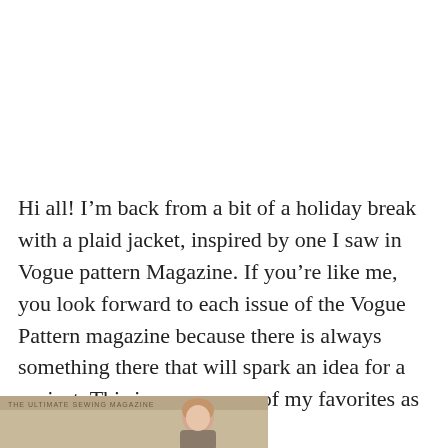Hi all! I'm back from a bit of a holiday break with a plaid jacket, inspired by one I saw in Vogue pattern Magazine. If you're like me, you look forward to each issue of the Vogue Pattern magazine because there is always something there that will spark an idea for a project. This issue was one of my favorites as it was all about PLAID.
[Figure (photo): Bottom strip showing a magazine cover or banner with text 'THE ULTIMATE SEWING MAGAZINE' and a partial image of a person]